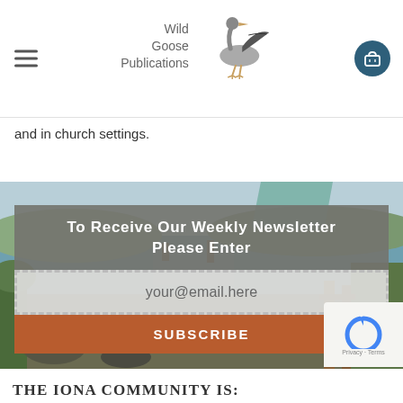[Figure (logo): Wild Goose Publications logo with flying goose bird and text]
and in church settings.
[Figure (photo): Coastal/seaside scene with water, dock, and vegetation in background]
To Receive Our Weekly Newsletter Please Enter
your@email.here
SUBSCRIBE
THE IONA COMMUNITY IS: